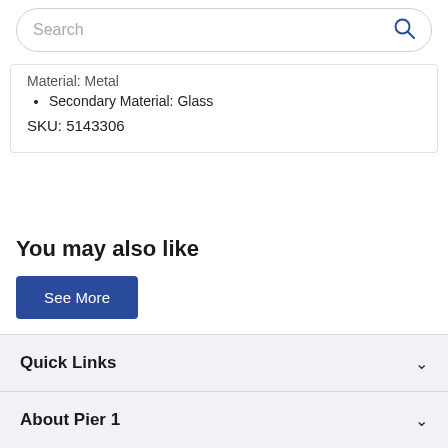Search
Material: Metal
Secondary Material: Glass
SKU: 5143306
You may also like
See More
Quick Links
About Pier 1